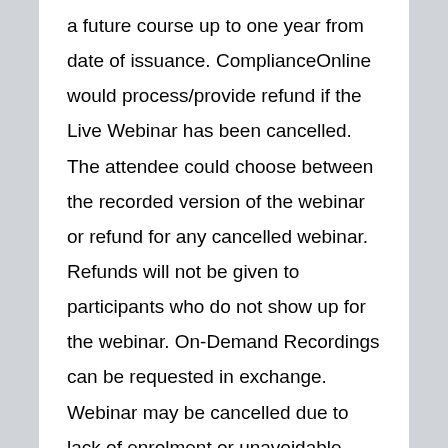a future course up to one year from date of issuance. ComplianceOnline would process/provide refund if the Live Webinar has been cancelled. The attendee could choose between the recorded version of the webinar or refund for any cancelled webinar. Refunds will not be given to participants who do not show up for the webinar. On-Demand Recordings can be requested in exchange. Webinar may be cancelled due to lack of enrolment or unavoidable factors. Registrants will be notified 24hours in advance if a cancellation occurs. Substitutions can happen any time. On-Demand Recording purchases will not be refunded as it is available for immediate streaming. However